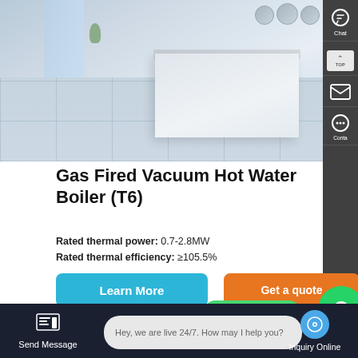[Figure (photo): Interior photo of a modern white kitchen with tiled floor, kitchen island, potted plant, and round objects on top, in light blue-grey tones]
Gas Fired Vacuum Hot Water Boiler (T6)
Rated thermal power: 0.7-2.8MW
Rated thermal efficiency: ≥105.5%
Learn More
Get a quote
[Figure (photo): Partial view of a second product image showing an interior space with glowing circular lights at the bottom, and a blue email icon circle partially visible]
Contact us now!
Send Message
Hey, we are live 24/7. How may I help you?
Inquiry Online